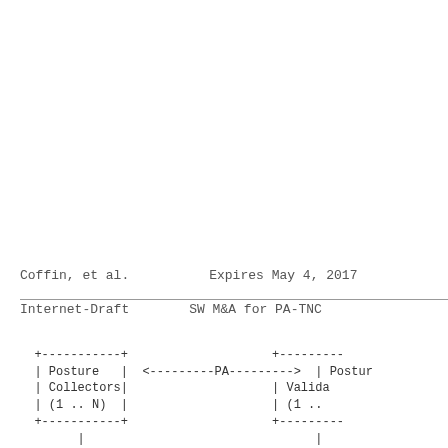Coffin, et al.                    Expires May 4, 2017
Internet-Draft                    SW M&A for PA-TNC
[Figure (network-graph): Network diagram showing Posture Collectors (1 .. N) box connected via PA arrow to a Posture Validators (1 .. N) box (partially visible), with vertical lines extending below each box toward another row of boxes at the bottom of the diagram.]